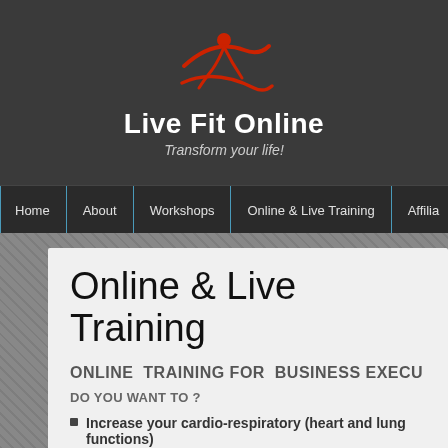[Figure (logo): Live Fit Online website header with red figure logo, site name and tagline on dark gray background]
Home | About | Workshops | Online & Live Training | Affilia...
Online & Live Training
ONLINE  TRAINING FOR  BUSINESS EXECU...
DO YOU WANT TO ?
Increase your cardio-respiratory (heart and lung functions)
Fat loss & Tone up muscles for that Beach look